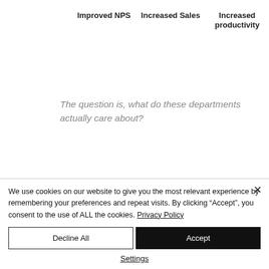Improved NPS   Increased Sales   Increased productivity
The question is, what do these departments actually care about?
We use cookies on our website to give you the most relevant experience by remembering your preferences and repeat visits. By clicking “Accept”, you consent to the use of ALL the cookies. Privacy Policy
Decline All
Accept
Settings